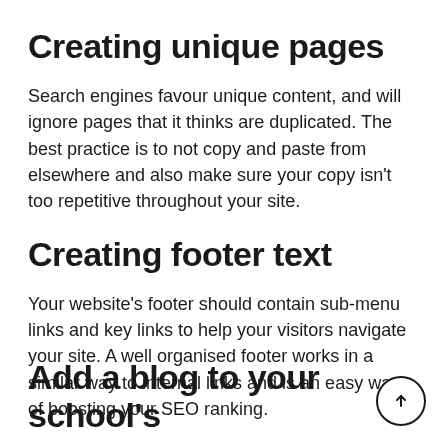Creating unique pages
Search engines favour unique content, and will ignore pages that it thinks are duplicated. The best practice is to not copy and paste from elsewhere and also make sure your copy isn't too repetitive throughout your site.
Creating footer text
Your website's footer should contain sub-menu links and key links to help your visitors navigate your site. A well organised footer works in a similar way to internal links and is an easy way of boosting your SEO ranking.
Add a blog to your school's